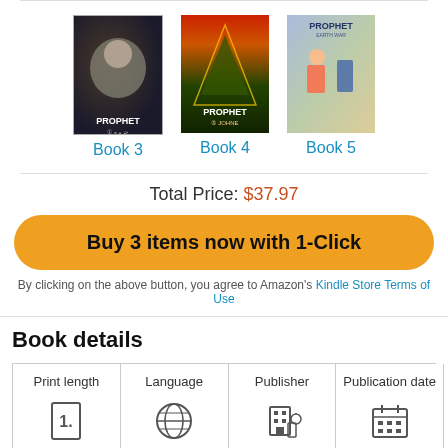[Figure (illustration): Three Prophet comic book covers: Book 3 (dark space/alien face), Book 4 (red/green pyramid), Book 5 (light blue action scene)]
Book 3
Book 4
Book 5
Total Price: $37.97
Buy 3 items now with 1-Click
By clicking on the above button, you agree to Amazon's Kindle Store Terms of Use
Book details
Print length
Language
Publisher
Publication date